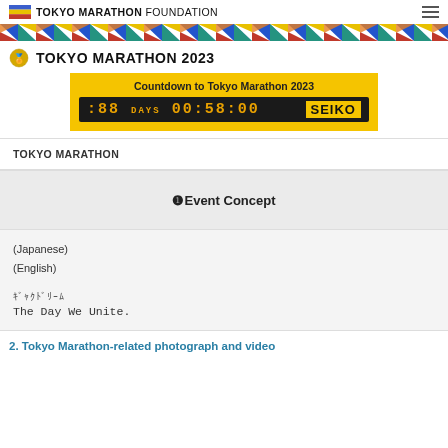TOKYO MARATHON FOUNDATION
[Figure (illustration): Colorful diagonal pattern banner strip in blue, green, red, yellow, and other colors]
TOKYO MARATHON 2023
[Figure (infographic): Countdown to Tokyo Marathon 2023 box with yellow background, digital clock display showing 88 days 00:58:00 and SEIKO branding]
TOKYO MARATHON
❶Event Concept
(Japanese)
(English)
ｷﾞｬｸﾄﾞﾘｰﾑ
The Day We Unite.
2. Tokyo Marathon-related photograph and video